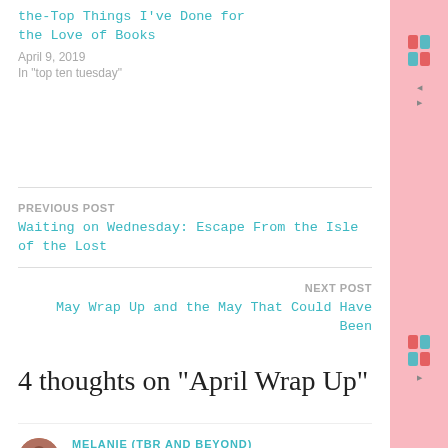the-Top Things I've Done for the Love of Books
April 9, 2019
In "top ten tuesday"
PREVIOUS POST
Waiting on Wednesday: Escape From the Isle of the Lost
NEXT POST
May Wrap Up and the May That Could Have Been
4 thoughts on “April Wrap Up”
[Figure (photo): Circular avatar photo of a person with brown tones]
MELANIE (TBR AND BEYOND)